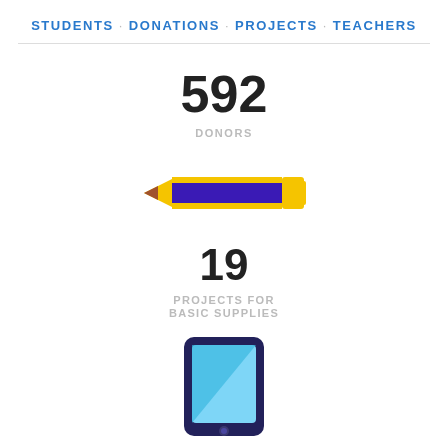STUDENTS · DONATIONS · PROJECTS · TEACHERS
592
DONORS
[Figure (illustration): Icon of a pencil, blue/purple body with yellow eraser and tip, pointing left]
19
PROJECTS FOR BASIC SUPPLIES
[Figure (illustration): Icon of a tablet/iPad device, dark navy border with light blue screen and a button at the bottom]
59